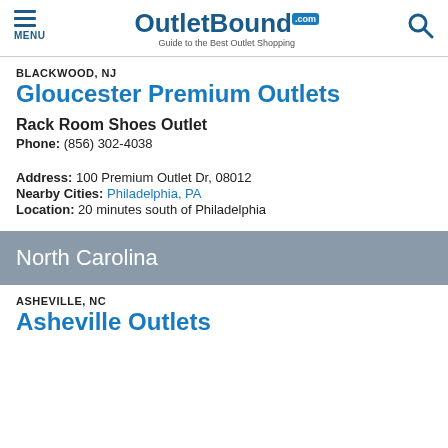OutletBound.com — Guide to the Best Outlet Shopping
BLACKWOOD, NJ
Gloucester Premium Outlets
Rack Room Shoes Outlet
Phone: (856) 302-4038
Address: 100 Premium Outlet Dr, 08012
Nearby Cities: Philadelphia, PA
Location: 20 minutes south of Philadelphia
North Carolina
ASHEVILLE, NC
Asheville Outlets